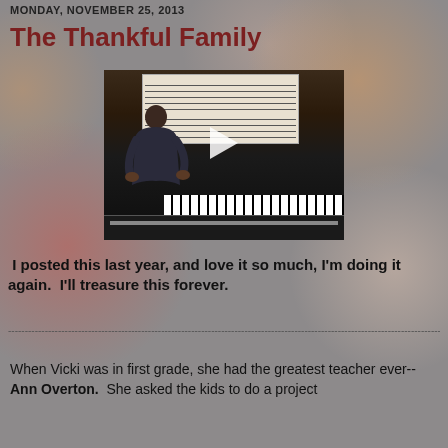MONDAY, NOVEMBER 25, 2013
The Thankful Family
[Figure (screenshot): Video player showing a child playing piano with sheet music on the stand, viewed from behind. A white play button triangle is centered on the video. Below the video image is a dark control bar.]
I posted this last year, and love it so much, I'm doing it again.  I'll treasure this forever.
---------------------------------------------------------------------------------------------------------------------------------------
When Vicki was in first grade, she had the greatest teacher ever--Ann Overton.  She asked the kids to do a project